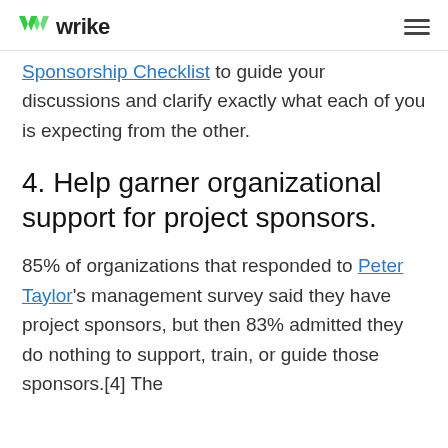wrike
Sponsorship Checklist to guide your discussions and clarify exactly what each of you is expecting from the other.
4. Help garner organizational support for project sponsors.
85% of organizations that responded to Peter Taylor's management survey said they have project sponsors, but then 83% admitted they do nothing to support, train, or guide those sponsors.[4] The